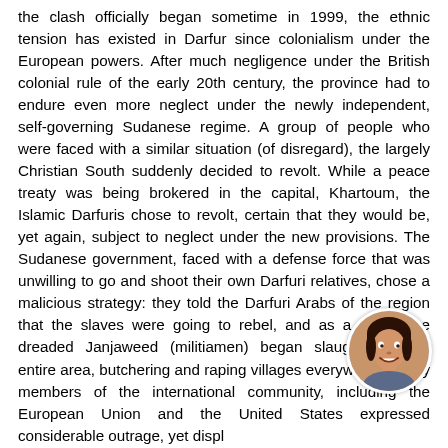the clash officially began sometime in 1999, the ethnic tension has existed in Darfur since colonialism under the European powers. After much negligence under the British colonial rule of the early 20th century, the province had to endure even more neglect under the newly independent, self-governing Sudanese regime. A group of people who were faced with a similar situation (of disregard), the largely Christian South suddenly decided to revolt. While a peace treaty was being brokered in the capital, Khartoum, the Islamic Darfuris chose to revolt, certain that they would be, yet again, subject to neglect under the new provisions. The Sudanese government, faced with a defense force that was unwilling to go and shoot their own Darfuri relatives, chose a malicious strategy: they told the Darfuri Arabs of the region that the slaves were going to rebel, and as a result, the dreaded Janjaweed (militiamen) began slaughtering the entire area, butchering and raping villages everywhere. Many members of the international community, including the European Union and the United States expressed considerable outrage, yet displayed a complete lack of resolve and coordination" in trying to fix the situation. Some nations, like Germany and the Netherlands, gave substantial financial support (and erupted into ineffectual noise),
[Figure (photo): Circular avatar photo of a smiling woman, partially overlapping the bottom-right of the text block.]